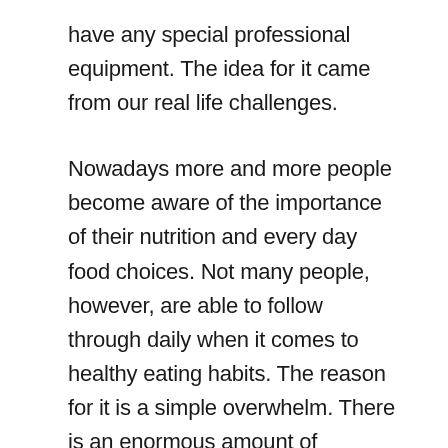have any special professional equipment. The idea for it came from our real life challenges.
Nowadays more and more people become aware of the importance of their nutrition and every day food choices. Not many people, however, are able to follow through daily when it comes to healthy eating habits. The reason for it is a simple overwhelm. There is an enormous amount of information about healthy foods and nutrition advice (often contradictory), additionally media constantly declares newly discovered superfoods and food trends. It is not easy to navigate in this ocean of information, let alone bring it to your